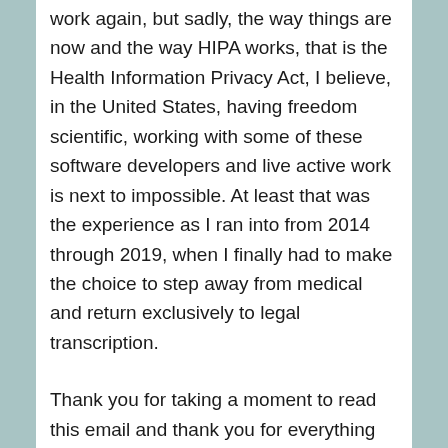work again, but sadly, the way things are now and the way HIPA works, that is the Health Information Privacy Act, I believe, in the United States, having freedom scientific, working with some of these software developers and live active work is next to impossible. At least that was the experience as I ran into from 2014 through 2019, when I finally had to make the choice to step away from medical and return exclusively to legal transcription.
Thank you for taking a moment to read this email and thank you for everything you've done to help further people's knowledge of, as well as experiences with our ever changing technology for Windows, Mac, iOS and Android. It's wonderful to get to hear you doing your podcasts live now through Clubhouse and other available options."